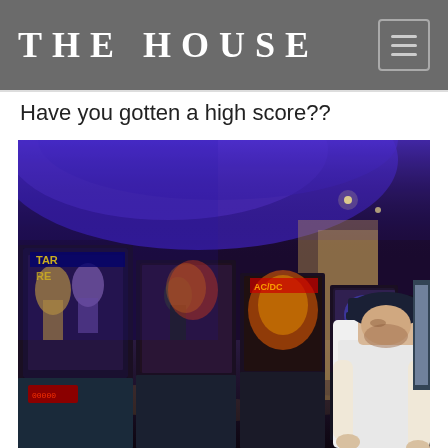THE HOUSE
Have you gotten a high score??
[Figure (photo): Interior of an arcade/bar with a row of pinball machines lit with blue and purple lighting. A man wearing a dark cap and white shirt is leaning over a pinball machine on the right side. Multiple pinball machine backglasses are visible, including Star Wars themed machines.]